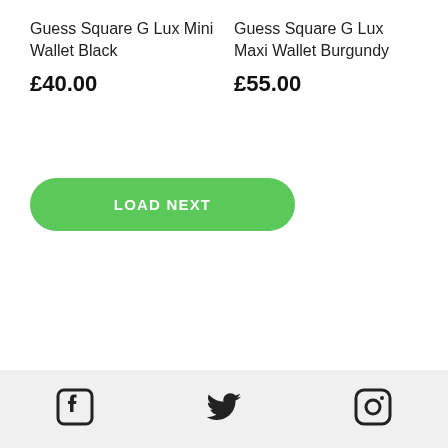Guess Square G Lux Mini Wallet Black
£40.00
Guess Square G Lux Maxi Wallet Burgundy
£55.00
LOAD NEXT
[Figure (illustration): Footer with Facebook, Twitter, and Instagram social media icons]